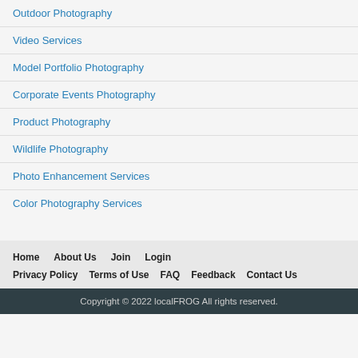Outdoor Photography
Video Services
Model Portfolio Photography
Corporate Events Photography
Product Photography
Wildlife Photography
Photo Enhancement Services
Color Photography Services
Home   About Us   Join   Login   Privacy Policy   Terms of Use   FAQ   Feedback   Contact Us
Copyright © 2022 localFROG All rights reserved.